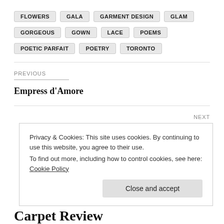FLOWERS  GALA  GARMENT DESIGN  GLAM
GORGEOUS  GOWN  LACE  POEMS
POETIC PARFAIT  POETRY  TORONTO
PREVIOUS
Empress d'Amore
NEXT
Art Gowns Love
Privacy & Cookies: This site uses cookies. By continuing to use this website, you agree to their use.
To find out more, including how to control cookies, see here: Cookie Policy
Close and accept
Carpet Review